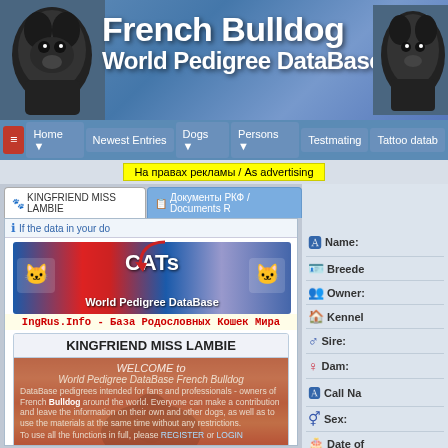[Figure (screenshot): French Bulldog World Pedigree DataBase website header banner with dog images on left and right]
French Bulldog World Pedigree DataBase
Home | Newest Entries | Dogs | Persons | Testmating | Tattoo database
На правах рекламы / As advertising
KINGFRIEND MISS LAMBIE
Документы РКФ / Documents R...
If the data in your do...
[Figure (screenshot): CATs World Pedigree DataBase advertisement banner with Russian and UK flags]
IngRus.Info - База Родословных Кошек Мира
KINGFRIEND MISS LAMBIE
WELCOME to World Pedigree DataBase French Bulldog. DataBase pedigrees intended for fans and professionals - owners of French Bulldog around the world. Everyone can make a contribution and leave the information on their own and other dogs, as well as to use the materials at the same time without any restrictions. To use all the functions in full, please REGISTER or LOGIN
Name:
Breeder:
Owner:
Kennel:
Sire:
Dam:
Call Na...
Sex:
Date of...
Date of...